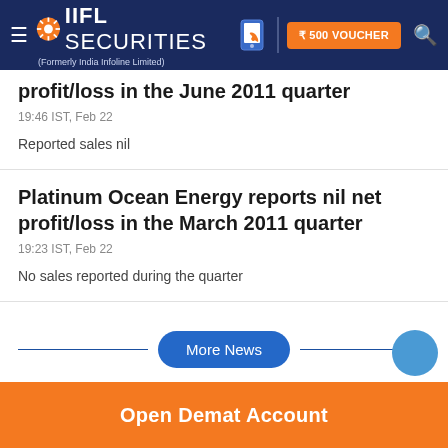IIFL Securities (Formerly India Infoline Limited) — ₹500 VOUCHER
profit/loss in the June 2011 quarter
19:46 IST, Feb 22
Reported sales nil
Platinum Ocean Energy reports nil net profit/loss in the March 2011 quarter
19:23 IST, Feb 22
No sales reported during the quarter
More News
Open Demat Account